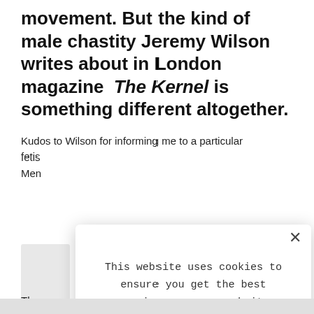movement. But the kind of male chastity Jeremy Wilson writes about in London magazine  The Kernel is something different altogether.
Kudos to Wilson for informing me to a particular fetis[h...] Men[...]
[Figure (other): Grey placeholder image box]
The [...] are p[...] stair[...]
[Figure (screenshot): Cookie consent modal dialog with close X button, body text 'This website uses cookies to ensure you get the best experience on our website.', a LEARN MORE link, and an ACCEPT COOKIES button.]